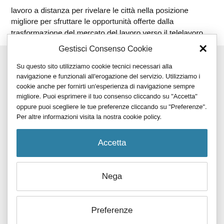lavoro a distanza per rivelare le città nella posizione migliore per sfruttare le opportunità offerte dalla trasformazione del mercato del lavoro verso il telelavoro .
Gestisci Consenso Cookie
Su questo sito utilizziamo cookie tecnici necessari alla navigazione e funzionali all'erogazione del servizio. Utilizziamo i cookie anche per fornirti un'esperienza di navigazione sempre migliore. Puoi esprimere il tuo consenso cliccando su "Accetta" oppure puoi scegliere le tue preferenze cliccando su "Preferenze". Per altre informazioni visita la nostra cookie policy.
Accetta
Nega
Preferenze
COOKIE POLICY   PRIVACY POLICY